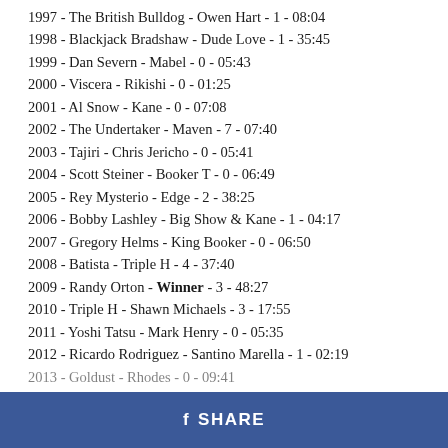1997 - The British Bulldog - Owen Hart - 1 - 08:04
1998 - Blackjack Bradshaw - Dude Love - 1 - 35:45
1999 - Dan Severn - Mabel - 0 - 05:43
2000 - Viscera - Rikishi - 0 - 01:25
2001 - Al Snow - Kane - 0 - 07:08
2002 - The Undertaker - Maven - 7 - 07:40
2003 - Tajiri - Chris Jericho - 0 - 05:41
2004 - Scott Steiner - Booker T - 0 - 06:49
2005 - Rey Mysterio - Edge - 2 - 38:25
2006 - Bobby Lashley - Big Show & Kane - 1 - 04:17
2007 - Gregory Helms - King Booker - 0 - 06:50
2008 - Batista - Triple H - 4 - 37:40
2009 - Randy Orton - Winner - 3 - 48:27
2010 - Triple H - Shawn Michaels - 3 - 17:55
2011 - Yoshi Tatsu - Mark Henry - 0 - 05:35
2012 - Ricardo Rodriguez - Santino Marella - 1 - 02:19
2013 - Goldust - Rhodes - 0 - 09:41
f SHARE